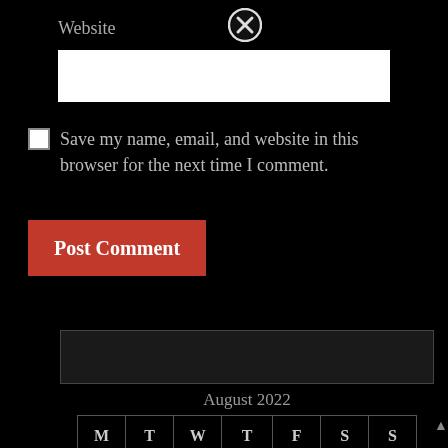Website
[Figure (other): Close/cancel circle icon (X in circle) at top]
[Figure (other): White text input box for website URL]
Save my name, email, and website in this browser for the next time I comment.
Post Comment
[Figure (other): Dark search/text input box]
| M | T | W | T | F | S | S |
| --- | --- | --- | --- | --- | --- | --- |
| 1 | 2 | 3 | 4 | 5 | 6 | 7 |
August 2022